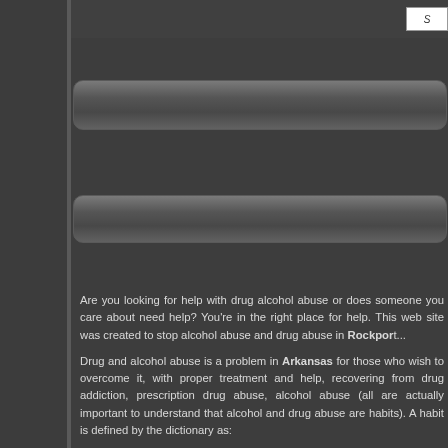[Figure (screenshot): Website screenshot showing a dark-themed drug help website for Rockport, Arkansas with navigation bars and text content about drug and alcohol abuse help.]
Are you looking for help with drug abuse or does someone you care about need help? You're in the right place for help. This web site was created to stop alcohol abuse and drug abuse in Rockport...
Drug and alcohol abuse is a problem in Arkansas for those who wish to overcome it, with proper treatment and help, recovering from drug addiction, prescription drug abuse, alcohol abuse (all are actually important to understand that alcohol and drug abuse are habits). A habit is defined by the dictionary as:
"A recurrent, often unconscious...
An established...
An addict...
With this in mind, one can change a habit with determination, and accurate inform...
Drug-help.com is dedicated to finding help for your abuse problem. Our referral netw... can overcome drug or alcohol abus...
Alcohol Help, Rockport, Arkansas